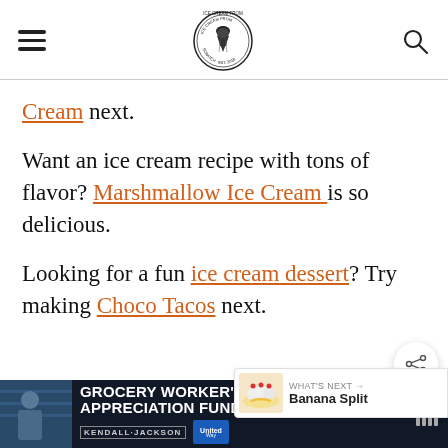Ice Cream From Scratch [logo] [hamburger menu] [search]
Cream next.
Want an ice cream recipe with tons of flavor? Marshmallow Ice Cream is so delicious.
Looking for a fun ice cream dessert? Try making Choco Tacos next.
[Figure (screenshot): Grocery Worker's Appreciation Fund advertisement banner with Kendall-Jackson and United Way logos, photo of grocery worker]
WHAT'S NEXT → Banana Split